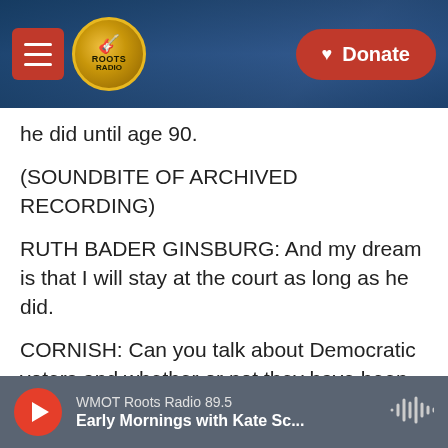Roots Radio — Donate
he did until age 90.
(SOUNDBITE OF ARCHIVED RECORDING)
RUTH BADER GINSBURG: And my dream is that I will stay at the court as long as he did.
CORNISH: Can you talk about Democratic voters and whether or not they have been animated by this issue?
LIASSON: Well, that's one of the big questions. What effect does this have on the campaign? Republican voters have generally been more
WMOT Roots Radio 89.5 — Early Mornings with Kate Sc...